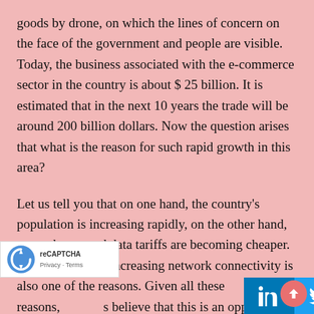goods by drone, on which the lines of concern on the face of the government and people are visible. Today, the business associated with the e-commerce sector in the country is about $ 25 billion. It is estimated that in the next 10 years the trade will be around 200 billion dollars. Now the question arises that what is the reason for such rapid growth in this area?
Let us tell you that on one hand, the country's population is increasing rapidly, on the other hand, smartphones and data tariffs are becoming cheaper. Not only this but increasing network connectivity is also one of the reasons. Given all these reasons, s believe that this is an opportunity for the country, but the is no clear